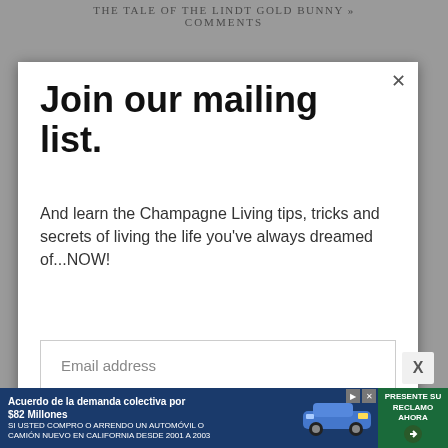THE TALE OF THE LINDT GOLD BUNNY »
COMMENTS
Join our mailing list.
And learn the Champagne Living tips, tricks and secrets of living the life you've always dreamed of...NOW!
Email address
Subscribe
[Figure (infographic): Advertisement banner: Acuerdo de la demanda colectiva por $82 Millones. SI USTED COMPRO O ARRENDO UN AUTOMÓVIL O CAMIÓN NUEVO EN CALIFORNIA DESDE 2001 A 2003. PRESENTE SU RECLAMO AHORA. Car image and CTA button.]